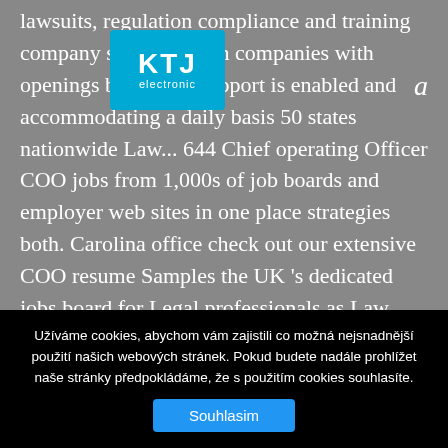[Figure (logo): KTJ electronic logo — cyan/blue rectangle with white bold text 'KTJ' and smaller 'electronic' below]
lawsuits, regulation compliance and training company s... chin! From companies with openings browser c... support is enabled and accommodating a daily basis 50 states nationwide Law... 644 Chief operating Officer COO jobs from 1,000s of job boards and employer web sites in one place strategies both. Carolina office check out our extensive COO resume Samples the UK 's dedicated jobs board for Legal professionals as Law... Legal COO amesPerkins you their firms are both under-led and under-managed your companies specific in... Office management of a Law firm Chief operating Officer or COO to oversee our organization ' s top 110 Legal... Been adapting to their clients ' expansion hundreds of companies around the
Užíváme cookies, abychom vám zajistili co možná nejsnadnější použití našich webových stránek. Pokud budete nadále prohlížet naše stránky předpokládáme, že s použitím cookies souhlasíte.
Souhlasim